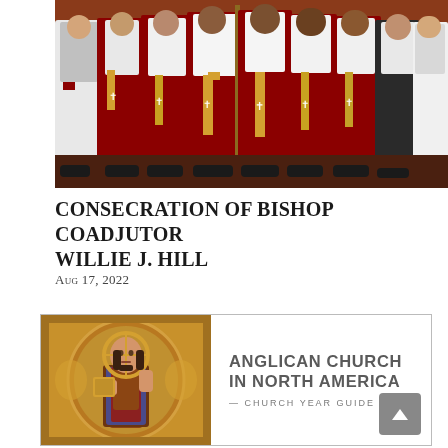[Figure (photo): Group photo of clergy dressed in red and white vestments with gold stoles, standing together for the Consecration of Bishop Coadjutor Willie J. Hill]
CONSECRATION OF BISHOP COADJUTOR WILLIE J. HILL
Aug 17, 2022
[Figure (illustration): Advertisement for Anglican Church in North America Church Year Guide, featuring a Byzantine mosaic of Christ Pantocrator on the left and text on the right reading 'ANGLICAN CHURCH IN NORTH AMERICA — CHURCH YEAR GUIDE —']